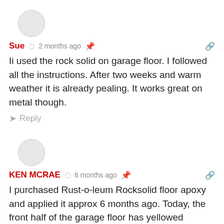[Figure (illustration): Gray circle avatar for user Sue]
Sue  2 months ago
Ii used the rock solid on garage floor. I followed all the instructions. After two weeks and warm weather it is already pealing. It works great on metal though.
Reply
[Figure (illustration): Gray circle avatar for user Ken McRae]
KEN MCRAE  6 months ago
I purchased Rust-o-leum Rocksolid floor apoxy and applied it approx 6 months ago. Today, the front half of the garage floor has yellowed because I have the garage door open alot(according to rust-o-leum customer service because the sunand no UV protection). WOW. that was their response with no refund because I didnt keep the itemized receipt. Showed them a bank statement and they said the home depot could get the details... they